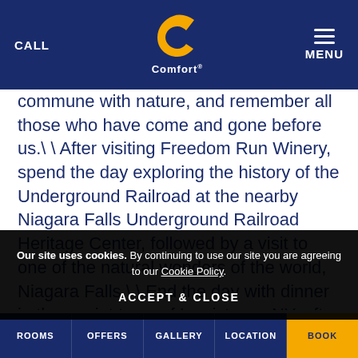CALL | Comfort | MENU
commune with nature, and remember all those who have come and gone before us.\ \ After visiting Freedom Run Winery, spend the day exploring the history of the Underground Railroad at the nearby Niagara Falls Underground Railroad Heritage Center, followed by a visit to one of the natural wonders of the world, Niagara Falls.\ \ End the day with dinner in the quaint town of Lewistown, NY, after a visit to the Freedom Crossing
Our site uses cookies. By continuing to use our site you are agreeing to our Cookie Policy.

ACCEPT & CLOSE
group can personalize your experience here at
ROOMS | OFFERS | GALLERY | LOCATION | BOOK